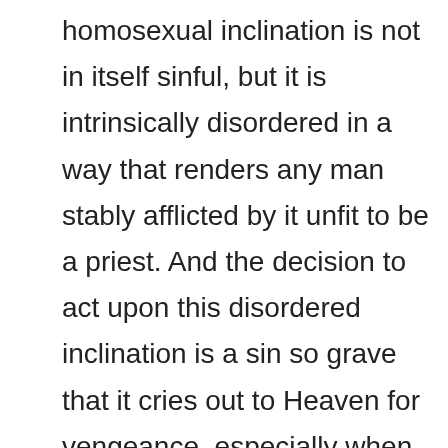homosexual inclination is not in itself sinful, but it is intrinsically disordered in a way that renders any man stably afflicted by it unfit to be a priest. And the decision to act upon this disordered inclination is a sin so grave that it cries out to Heaven for vengeance, especially when it involves preying upon the young or the vulnerable. Such wickedness should be hated with a perfect hatred. Christian charity itself demands that we should hate wickedness just as we love